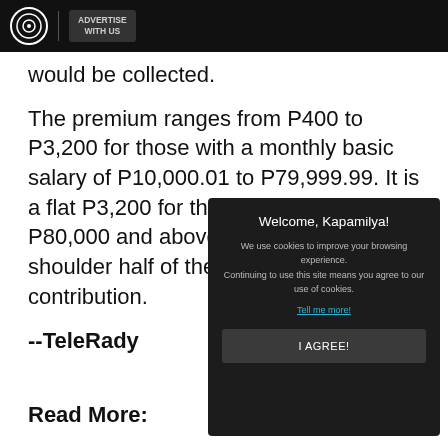ADVERTISE WITH US
would be collected.
The premium ranges from P400 to P3,200 for those with a monthly basic salary of P10,000.01 to P79,999.99. It is a flat P3,200 for those who earn P80,000 and above. Employers shoulder half of the PhilHealth contribution.
--TeleRady
Welcome, Kapamilya!
We use cookies to improve your browsing experience. Continuing to use this site means you agree to our use of cookies.
Tell me more!
I AGREE!
Read More: